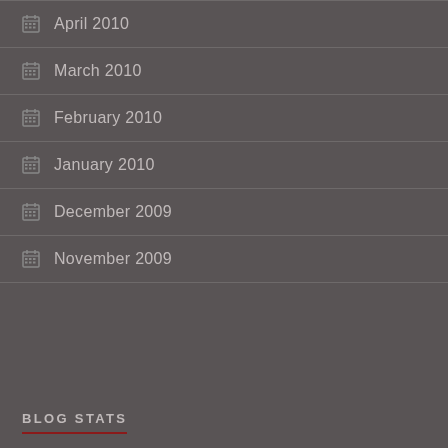April 2010
March 2010
February 2010
January 2010
December 2009
November 2009
BLOG STATS